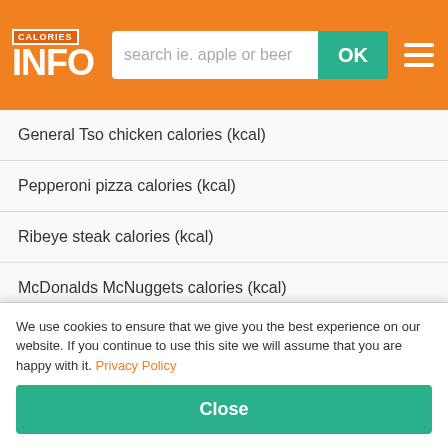CALORIES INFO — search ie. apple or beer — OK
General Tso chicken calories (kcal)
Pepperoni pizza calories (kcal)
Ribeye steak calories (kcal)
McDonalds McNuggets calories (kcal)
See also:
Calories from Wasabi peas
Calories of Sweetcorn
Calories in Fruit salad
Artichoke salad in oil calories per 100g
We use cookies to ensure that we give you the best experience on our website. If you continue to use this site we will assume that you are happy with it. Privacy Policy
Close